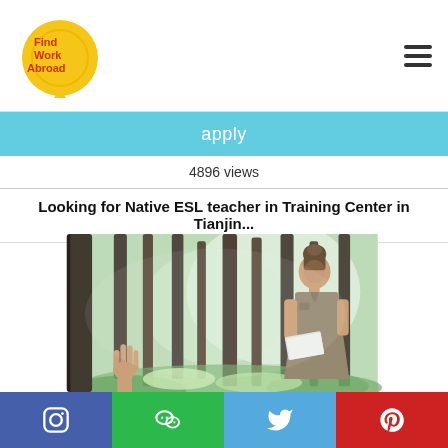Find Work Abroad
apply
4896 views
Looking for Native ESL teacher in Training Center in Tianjin...
[Figure (photo): A woman in a khaki dress holding a book standing in a misty forest, with a hand raised in the foreground]
Social media icons: Instagram, WeChat, Twitter, Pinterest